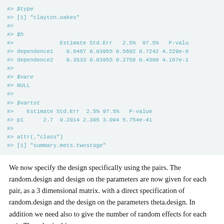#> $type
#> [1] "clayton.oakes"
#>
#> $h
#>              Estimate Std.Err   2.5%  97.5%   P-valu
#> dependence1    0.6467 0.03955 0.5692 0.7242 4.229e-6
#> dependence2    0.3533 0.03955 0.2758 0.4308 4.167e-1
#>
#> $vare
#> NULL
#>
#> $vartot
#>    Estimate Std.Err  2.5% 97.5%   P-value
#> p1      2.7  0.2014 2.305 3.094 5.754e-41
#>
#> attr(,"class")
#> [1] "summary.mets.twostage"
We now specify the design specifically using the pairs. The random.design and design on the parameters are now given for each pair, as a 3 dimensional matrix. with a direct specification of random.design and the design on the parameters theta.design. In addition we need also to give the number of random effects for each pair. These basic things are